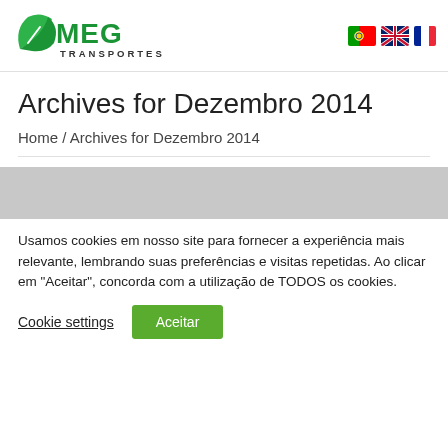[Figure (logo): MEG Transportes logo — green swirl leaf icon with MEG in large green letters and TRANSPORTES below in dark gray]
[Figure (other): Three flag icons: Portuguese flag, UK/British flag, French flag]
Archives for Dezembro 2014
Home / Archives for Dezembro 2014
[Figure (other): Gray banner/placeholder bar]
Usamos cookies em nosso site para fornecer a experiência mais relevante, lembrando suas preferências e visitas repetidas. Ao clicar em "Aceitar", concorda com a utilização de TODOS os cookies.
Cookie settings
Aceitar